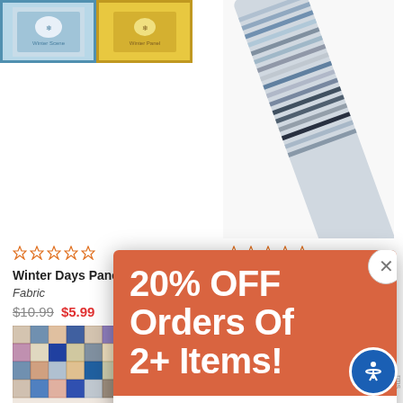[Figure (screenshot): E-commerce product listing page showing fabric products with a promotional popup overlay. Left product: Winter Days Panel 44" x 24" Fabric, originally $10.99 sale $5.99. Right product: Pearl Light Jelly Roll 40/Pkg. A popup shows 20% OFF Orders Of 2+ Items! with countdown timer 00 Days 15 Hr 19 Min and a SHOP NOW button.]